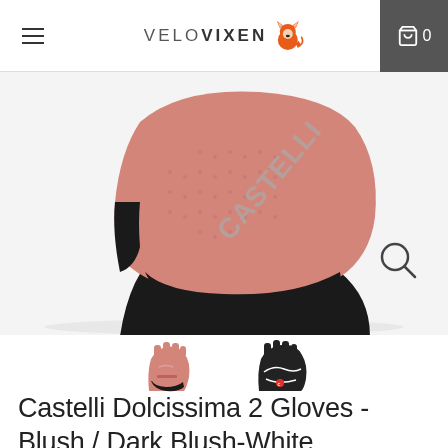VELO VIXEN  0
[Figure (photo): Close-up of a pink and black Castelli Dolcissima 2 cycling glove, showing textured pink fabric with Castelli branding on the wrist, and black palm area. A magnifying glass / zoom icon is visible at the right side.]
[Figure (photo): Two thumbnail images of Castelli Dolcissima 2 gloves. Left thumbnail shows the glove from the top/back side in pink color. Right thumbnail shows the glove from the palm side in black with white stitching and Castelli logo.]
Castelli Dolcissima 2 Gloves - Blush / Dark Blush-White